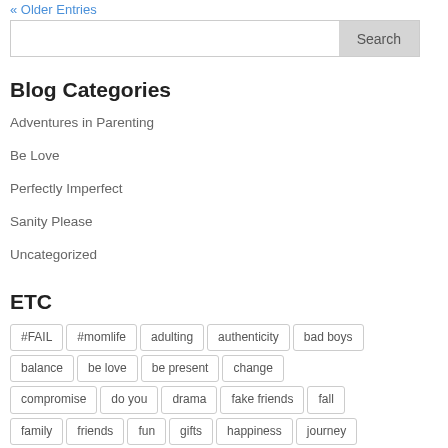« Older Entries
Search
Blog Categories
Adventures in Parenting
Be Love
Perfectly Imperfect
Sanity Please
Uncategorized
ETC
#FAIL, #momlife, adulting, authenticity, bad boys, balance, be love, be present, change, compromise, do you, drama, fake friends, fall, family, friends, fun, gifts, happiness, journey